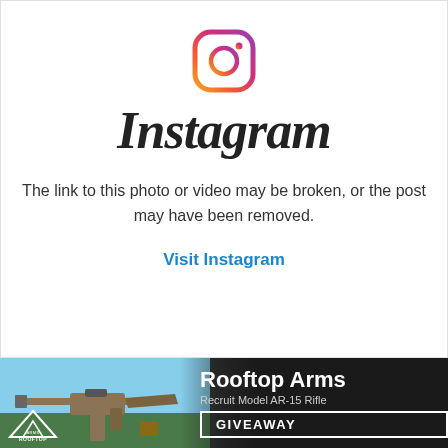[Figure (logo): Instagram logo icon - rounded square with camera outline, gradient border (pink to orange to yellow)]
Instagram
The link to this photo or video may be broken, or the post may have been removed.
Visit Instagram
[Figure (infographic): Rooftop Arms advertisement banner showing an AR-15 rifle (Recruit Model) against a sky background, with text 'Rooftop Arms', 'Recruit Model AR-15 Rifle', and a 'GIVEAWAY' button. Rooftop Arms logo in bottom left.]